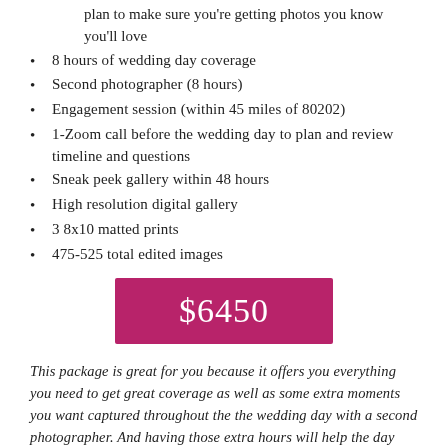plan to make sure you're getting photos you know you'll love
8 hours of wedding day coverage
Second photographer (8 hours)
Engagement session (within 45 miles of 80202)
1-Zoom call before the wedding day to plan and review timeline and questions
Sneak peek gallery within 48 hours
High resolution digital gallery
3 8x10 matted prints
475-525 total edited images
$6450
This package is great for you because it offers you everything you need to get great coverage as well as some extra moments you want captured throughout the the wedding day with a second photographer. And having those extra hours will help the day feel more free flowing and relaxed